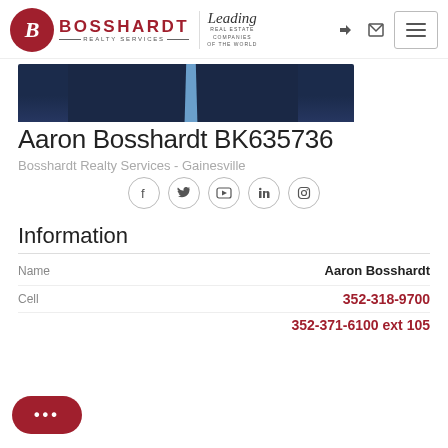[Figure (logo): Bosshardt Realty Services logo with red circle B monogram and Leading Real Estate Companies of the World logo]
[Figure (photo): Partial photo of Aaron Bosshardt in dark suit with blue tie, cropped at chest level]
Aaron Bosshardt BK635736
Bosshardt Realty Services - Gainesville
[Figure (infographic): Social media icon buttons: Facebook, Twitter, YouTube, LinkedIn, Instagram]
Information
| Field | Value |
| --- | --- |
| Name | Aaron Bosshardt |
| Cell | 352-318-9700 |
|  | 352-371-6100 ext 105 |